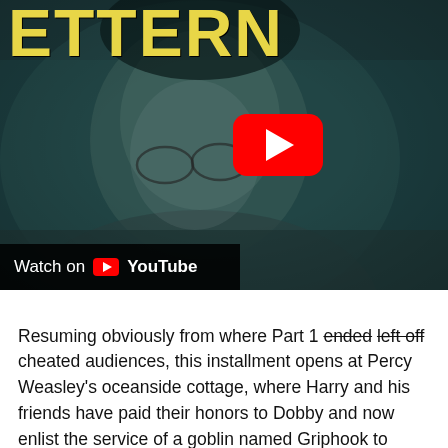[Figure (screenshot): YouTube video thumbnail showing a person (Harry Potter character) with round glasses against a dark teal background, with yellow letter title text partially visible at top, a red YouTube play button overlay in center-right, and a 'Watch on YouTube' bar at bottom-left.]
Resuming obviously from where Part 1 ended left off cheated audiences, this installment opens at Percy Weasley's oceanside cottage, where Harry and his friends have paid their honors to Dobby and now enlist the service of a goblin named Griphook to infiltrate Bellatrix Lestrange's vault at the Gringotts bank, in which they expect to acquire